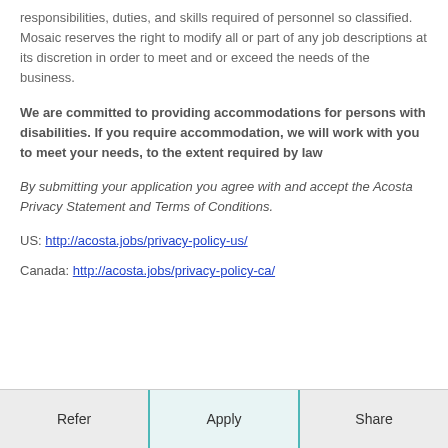responsibilities, duties, and skills required of personnel so classified. Mosaic reserves the right to modify all or part of any job descriptions at its discretion in order to meet and or exceed the needs of the business.
We are committed to providing accommodations for persons with disabilities. If you require accommodation, we will work with you to meet your needs, to the extent required by law
By submitting your application you agree with and accept the Acosta Privacy Statement and Terms of Conditions.
US: http://acosta.jobs/privacy-policy-us/
Canada: http://acosta.jobs/privacy-policy-ca/
Refer   Apply   Share